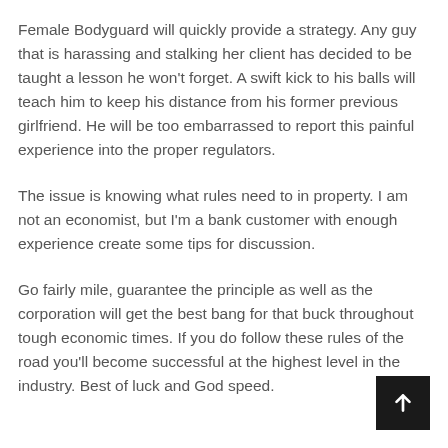Female Bodyguard will quickly provide a strategy. Any guy that is harassing and stalking her client has decided to be taught a lesson he won't forget. A swift kick to his balls will teach him to keep his distance from his former previous girlfriend. He will be too embarrassed to report this painful experience into the proper regulators.
The issue is knowing what rules need to in property. I am not an economist, but I'm a bank customer with enough experience create some tips for discussion.
Go fairly mile, guarantee the principle as well as the corporation will get the best bang for that buck throughout tough economic times. If you do follow these rules of the road you'll become successful at the highest level in the industry. Best of luck and God speed.